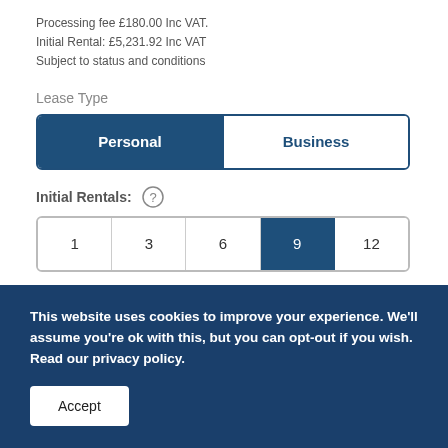Processing fee £180.00 Inc VAT.
Initial Rental: £5,231.92 Inc VAT
Subject to status and conditions
Lease Type
[Figure (other): Toggle button group for Lease Type with Personal (selected, dark blue) and Business (unselected, white) options]
Initial Rentals:
[Figure (other): Selector button group for Initial Rentals with options 1, 3, 6, 9 (selected, dark blue), 12]
This website uses cookies to improve your experience. We'll assume you're ok with this, but you can opt-out if you wish. Read our privacy policy.
Accept